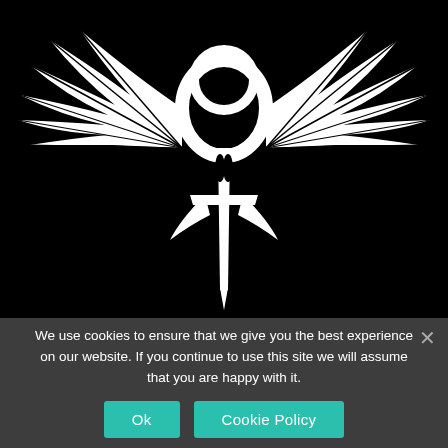[Figure (logo): White winged ankh/sword logo on black background — an ornate white emblem featuring large spread wings at the top, a circular ankh-like ring in the center, and a sword/blade extending downward, all set against a solid black background.]
We use cookies to ensure that we give you the best experience on our website. If you continue to use this site we will assume that you are happy with it.